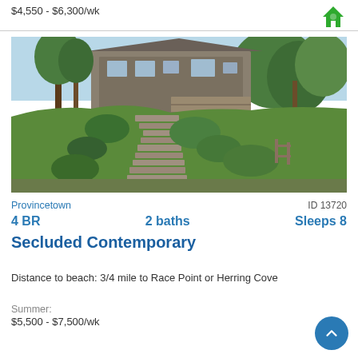$4,550 - $6,300/wk
[Figure (photo): Exterior photo of a contemporary shingled house on a wooded hillside with stone steps leading up through lush green vegetation]
Provincetown
ID 13720
4 BR   2 baths   Sleeps 8
Secluded Contemporary
Distance to beach: 3/4 mile to Race Point or Herring Cove
Summer:
$5,500 - $7,500/wk